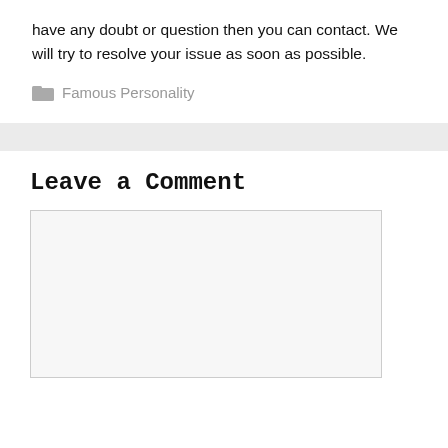have any doubt or question then you can contact. We will try to resolve your issue as soon as possible.
Famous Personality
Leave a Comment